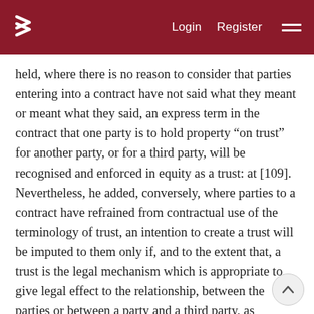Login  Register
held, where there is no reason to consider that parties entering into a contract have not said what they meant or meant what they said, an express term in the contract that one party is to hold property “on trust” for another party, or for a third party, will be recognised and enforced in equity as a trust: at [109]. Nevertheless, he added, conversely, where parties to a contract have refrained from contractual use of the terminology of trust, an intention to create a trust will be imputed to them only if, and to the extent that, a trust is the legal mechanism which is appropriate to give legal effect to the relationship, between the parties or between a party and a third party, as established or acknowledged by the express or implied terms of the contract: also at [109]. Thus, he held the question is whether recognition and enforcement of a trust is appropriate to give effect